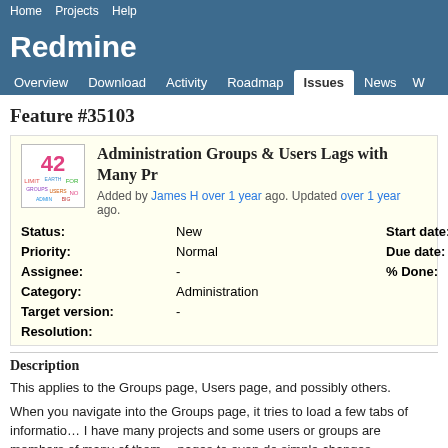Home   Projects   Help
Redmine
Overview   Download   Activity   Roadmap   Issues   News   W…
Feature #35103
Administration Groups & Users Lags with Many Pr…
Added by James H over 1 year ago. Updated over 1 year ago.
| Field | Value | Field2 |
| --- | --- | --- |
| Status: | New | Start date: |
| Priority: | Normal | Due date: |
| Assignee: | - | % Done: |
| Category: | Administration |  |
| Target version: | - |  |
| Resolution: |  |  |
Description
This applies to the Groups page, Users page, and possibly others.

When you navigate into the Groups page, it tries to load a few tabs of informatio… I have many projects and some users or groups are members of many of them… pages to even do simple changes. Sometimes unusable.